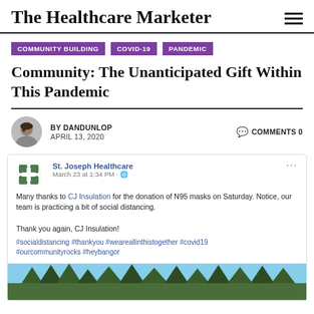The Healthcare Marketer
COMMUNITY BUILDING · COVID-19 · PANDEMIC
Community: The Unanticipated Gift Within This Pandemic
BY DANDUNLOP  APRIL 13, 2020  COMMENTS 0
[Figure (screenshot): Facebook post from St. Joseph Healthcare dated March 23 at 1:34 PM. Text: Many thanks to CJ Insulation for the donation of N95 masks on Saturday. Notice, our team is practicing a bit of social distancing. Thank you again, CJ Insulation! #socialdistancing #thankyou #weareallinthistogether #covid19 #ourcommunityrocks #heybangor. Followed by a photo of trees against a blue sky.]